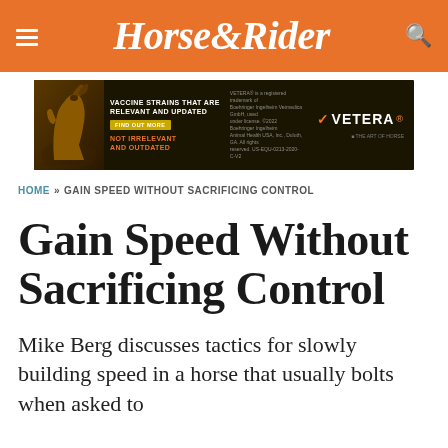Horse&Rider
[Figure (infographic): Vetera vaccine advertisement banner: horse silhouette on dark background, text 'VACCINE STRAINS THAT ARE RELEVANT AND UPDATED, NOT IRRELEVANT AND OUTDATED', FIND OUT MORE button, Vetera logo]
HOME » GAIN SPEED WITHOUT SACRIFICING CONTROL
Gain Speed Without Sacrificing Control
Mike Berg discusses tactics for slowly building speed in a horse that usually bolts when asked to